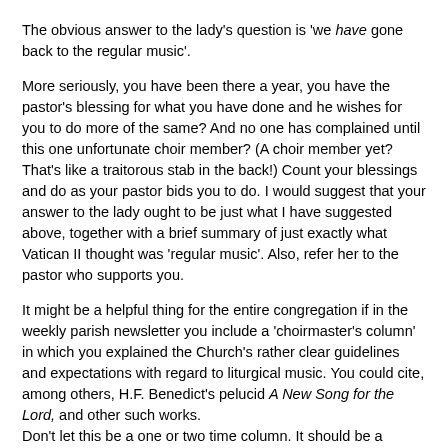The obvious answer to the lady's question is 'we have gone back to the regular music'.
More seriously, you have been there a year, you have the pastor's blessing for what you have done and he wishes for you to do more of the same? And no one has complained until this one unfortunate choir member? (A choir member yet? That's like a traitorous stab in the back!) Count your blessings and do as your pastor bids you to do. I would suggest that your answer to the lady ought to be just what I have suggested above, together with a brief summary of just exactly what Vatican II thought was 'regular music'. Also, refer her to the pastor who supports you.
It might be a helpful thing for the entire congregation if in the weekly parish newsletter you include a 'choirmaster's column' in which you explained the Church's rather clear guidelines and expectations with regard to liturgical music. You could cite, among others, H.F. Benedict's pelucid A New Song for the Lord, and other such works. Don't let this be a one or two time column. It should be a regular feature of the parish newsletter in which you reveal interesting things about the parish music, its background, history, appropriateness, interesting things about composers, hymns, propers, or liturgical music in general, etc.
Whatever you do don't back down. You have your pastor's support, so